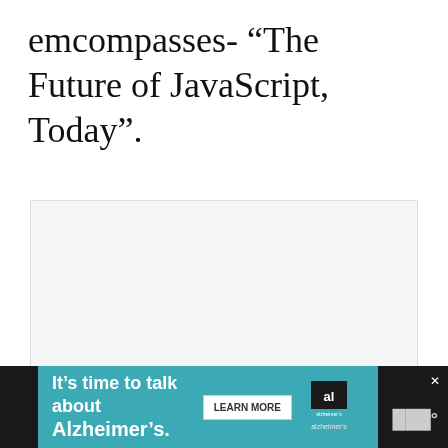emcompasses- “The Future of JavaScript, Today”.
[Figure (other): Light gray rectangular placeholder box, likely an embedded video or content area]
[Figure (other): Advertisement banner for Alzheimer's Association: 'It's time to talk about Alzheimer's.' with a LEARN MORE button and Alzheimer's Association logo on a teal background with dark bar.]